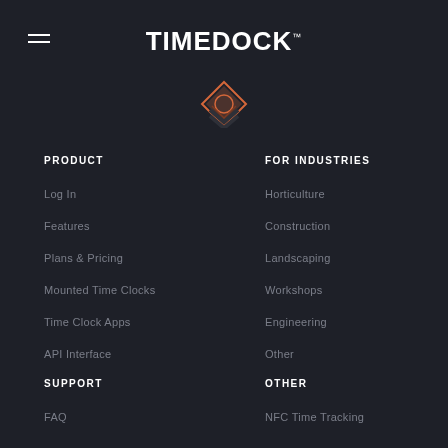[Figure (logo): TIMEDOCK logo with TM mark and orange diamond/chevron icon below]
PRODUCT
Log In
Features
Plans & Pricing
Mounted Time Clocks
Time Clock Apps
API Interface
FOR INDUSTRIES
Horticulture
Construction
Landscaping
Workshops
Engineering
Other
SUPPORT
FAQ
OTHER
NFC Time Tracking